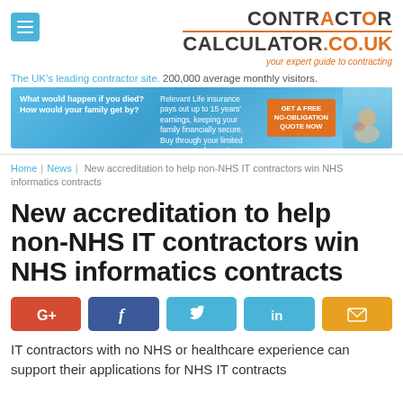[Figure (logo): ContractorCalculator.co.uk logo with hamburger menu icon, orange dot in CONTRACTOR, orange tagline 'your expert guide to contracting']
The UK's leading contractor site. 200,000 average monthly visitors.
[Figure (infographic): Advertisement banner: 'What would happen if you died? How would your family get by? Relevant Life insurance pays out up to 15 years' earnings, keeping your family financially secure. Buy through your limited company and save tax. GET A FREE NO-OBLIGATION QUOTE NOW']
Home | News | New accreditation to help non-NHS IT contractors win NHS informatics contracts
New accreditation to help non-NHS IT contractors win NHS informatics contracts
[Figure (infographic): Social sharing buttons: Google+, Facebook, Twitter, LinkedIn, Email]
IT contractors with no NHS or healthcare experience can support their applications for NHS IT contracts